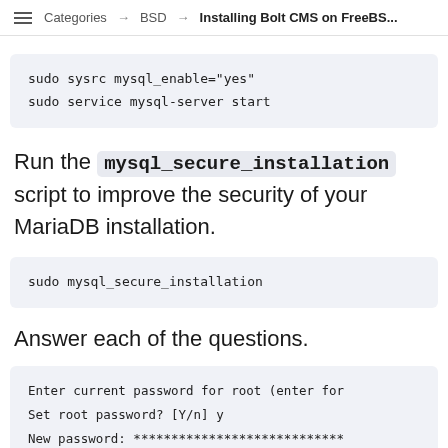Categories → BSD → Installing Bolt CMS on FreeBS...
sudo sysrc mysql_enable="yes"
sudo service mysql-server start
Run the mysql_secure_installation script to improve the security of your MariaDB installation.
sudo mysql_secure_installation
Answer each of the questions.
Enter current password for root (enter for
Set root password? [Y/n] y
New password: ****************************